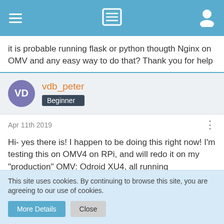Navigation bar with menu, list, and user icons
it is probable running flask or python thougth Nginx on OMV and any easy way to do that? Thank you for help
vdb_peter
Beginner
Apr 11th 2019
Hi- yes there is! I happen to be doing this right now! I'm testing this on OMV4 on RPi, and will redo it on my "production" OMV: Odroid XU4, all running Armbian/Debian 9. What's your OMV architecture?
This site uses cookies. By continuing to browse this site, you are agreeing to our use of cookies.